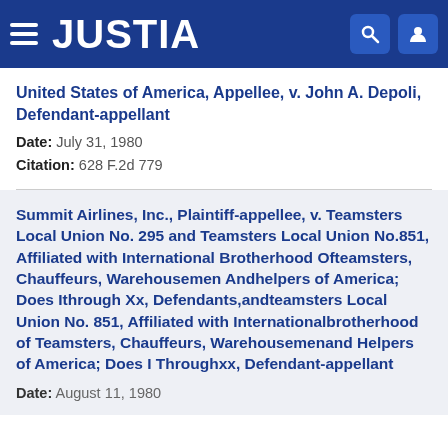JUSTIA
United States of America, Appellee, v. John A. Depoli, Defendant-appellant
Date: July 31, 1980
Citation: 628 F.2d 779
Summit Airlines, Inc., Plaintiff-appellee, v. Teamsters Local Union No. 295 and Teamsters Local Union No.851, Affiliated with International Brotherhood Ofteamsters, Chauffeurs, Warehousemen Andhelpers of America; Does Ithrough Xx, Defendants,andteamsters Local Union No. 851, Affiliated with Internationalbrotherhood of Teamsters, Chauffeurs, Warehousemenand Helpers of America; Does I Throughxx, Defendant-appellant
Date: August 11, 1980